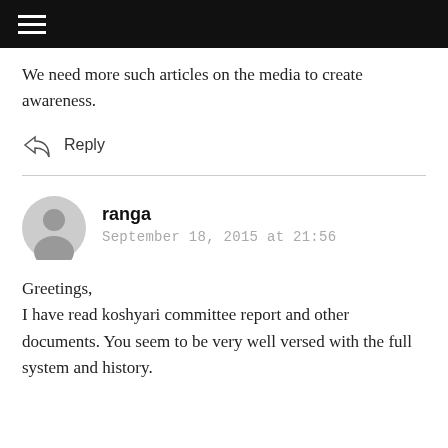≡
We need more such articles on the media to create awareness.
↩ Reply
ranga
September 18, 2015 at 21:56
Greetings,
I have read koshyari committee report and other documents. You seem to be very well versed with the full system and history.